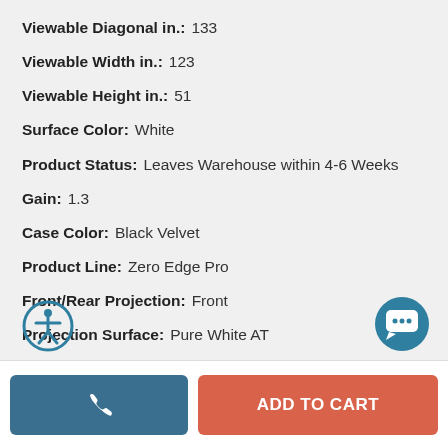Viewable Diagonal in.: 133
Viewable Width in.: 123
Viewable Height in.: 51
Surface Color: White
Product Status: Leaves Warehouse within 4-6 Weeks
Gain: 1.3
Case Color: Black Velvet
Product Line: Zero Edge Pro
Front/Rear Projection: Front
Projection Surface: Pure White AT
[Figure (illustration): Accessibility icon (person in circle) and chat bubble icon]
[Figure (illustration): Phone call button and Add to Cart button]